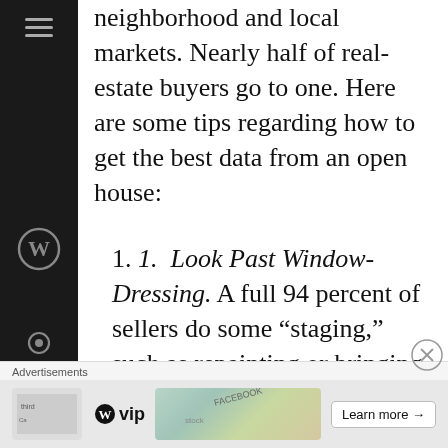neighborhood and local markets. Nearly half of real-estate buyers go to one. Here are some tips regarding how to get the best data from an open house:
1. Look Past Window-Dressing. A full 94 percent of sellers do some “staging,” such as repainting or bringing in new furniture, says Coldwell
[Figure (screenshot): WordPress.com VIP advertisement banner at bottom of page with Learn more button]
Advertisements